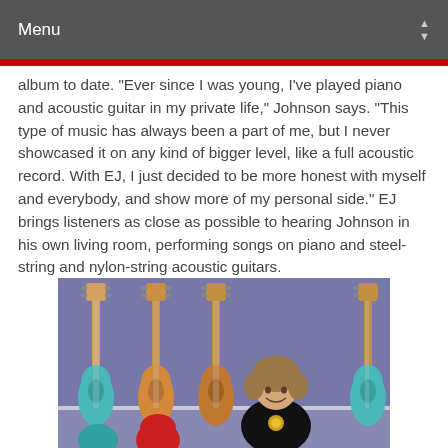Menu
album to date. “Ever since I was young, I’ve played piano and acoustic guitar in my private life,” Johnson says. “This type of music has always been a part of me, but I never showcased it on any kind of bigger level, like a full acoustic record. With EJ, I just decided to be more honest with myself and everybody, and show more of my personal side.” EJ brings listeners as close as possible to hearing Johnson in his own living room, performing songs on piano and steel-string and nylon-string acoustic guitars.
[Figure (photo): A smiling musician with medium-length hair sitting in front of a purple/blue wall with several electric guitars (Fender Stratocaster style) hanging on it. The guitars include teal, red, and other colored bodies. The musician wears a black top with a floral design.]